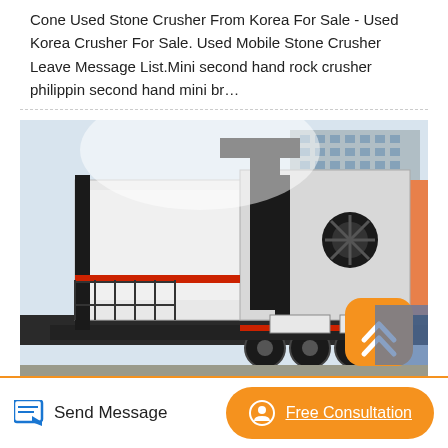Cone Used Stone Crusher From Korea For Sale - Used Korea Crusher For Sale. Used Mobile Stone Crusher Leave Message List.Mini second hand rock crusher philippin second hand mini br…
[Figure (photo): A large mobile stone crusher machine mounted on a heavy-duty trailer with multiple axles, parked on a paved area with industrial buildings in the background.]
Send Message
Free Consultation